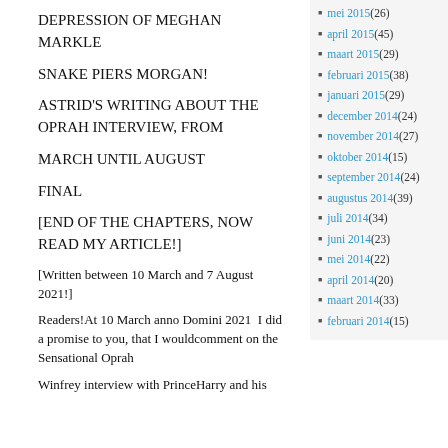DEPRESSION OF MEGHAN MARKLE
SNAKE PIERS MORGAN!
ASTRID'S WRITING ABOUT THE OPRAH INTERVIEW, FROM
MARCH UNTIL AUGUST
FINAL
[END OF THE CHAPTERS, NOW READ MY ARTICLE!]
[Written between 10 March and 7 August 2021!]
Readers!At 10 March anno Domini 2021  I did a promise to you, that I wouldcomment on the Sensational Oprah
Winfrey interview with PrinceHarry and his
mei 2015 (26)
april 2015 (45)
maart 2015 (29)
februari 2015 (38)
januari 2015 (29)
december 2014 (24)
november 2014 (27)
oktober 2014 (15)
september 2014 (24)
augustus 2014 (39)
juli 2014 (34)
juni 2014 (23)
mei 2014 (22)
april 2014 (20)
maart 2014 (33)
februari 2014 (15)